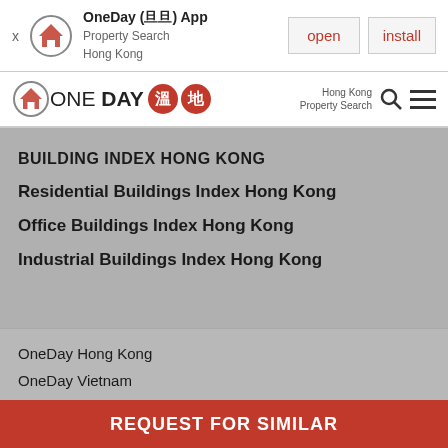[Figure (screenshot): App install banner for OneDay App - Property Search Hong Kong, with open and install buttons]
[Figure (logo): OneDay logo with house icon, Chinese characters badges, Hong Kong Property Search nav with search and menu icons]
BUILDING INDEX HONG KONG
Residential Buildings Index Hong Kong
Office Buildings Index Hong Kong
Industrial Buildings Index Hong Kong
OneDay Hong Kong
OneDay Vietnam
REQUEST FOR SIMILAR